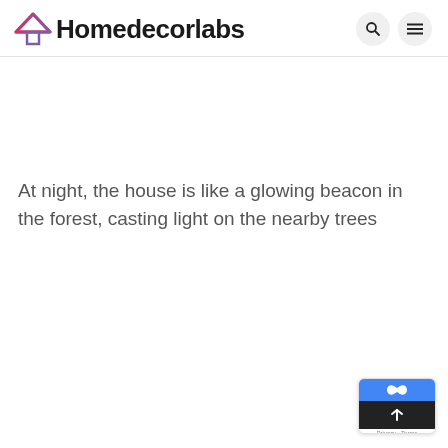Homedecorlabs
At night, the house is like a glowing beacon in the forest, casting light on the nearby trees